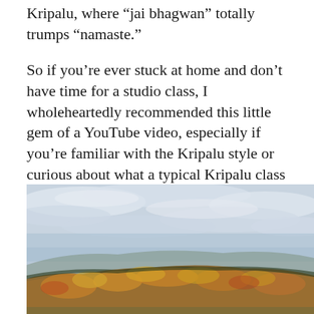Kripalu, where “jai bhagwan” totally trumps “namaste.”
So if you’re ever stuck at home and don’t have time for a studio class, I wholeheartedly recommended this little gem of a YouTube video, especially if you’re familiar with the Kripalu style or curious about what a typical Kripalu class is like. The only thing missing was being able to roll up my mat; step outside for a deep breath of that cool, crisp Berkshire Mountain air; and enjoy my silent breakfast surrounded by other blissed-out yogis.
[Figure (photo): Autumn landscape photograph showing a large mountain or hill covered in fall foliage (orange, red, and yellow trees) under a partly cloudy sky with blue-grey tones.]